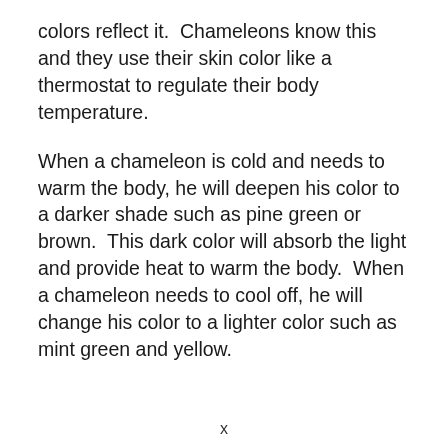colors reflect it.  Chameleons know this and they use their skin color like a thermostat to regulate their body temperature.
When a chameleon is cold and needs to warm the body, he will deepen his color to a darker shade such as pine green or brown.  This dark color will absorb the light and provide heat to warm the body.  When a chameleon needs to cool off, he will change his color to a lighter color such as mint green and yellow.
x